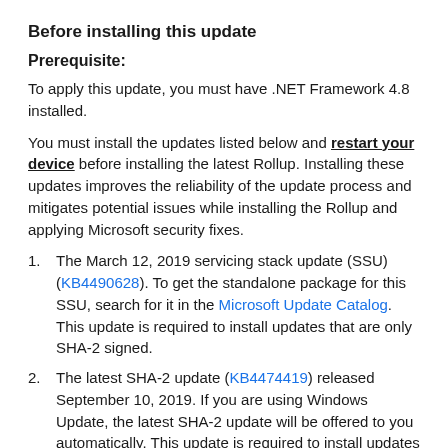Before installing this update
Prerequisite:
To apply this update, you must have .NET Framework 4.8 installed.
You must install the updates listed below and restart your device before installing the latest Rollup. Installing these updates improves the reliability of the update process and mitigates potential issues while installing the Rollup and applying Microsoft security fixes.
The March 12, 2019 servicing stack update (SSU) (KB4490628). To get the standalone package for this SSU, search for it in the Microsoft Update Catalog. This update is required to install updates that are only SHA-2 signed.
The latest SHA-2 update (KB4474419) released September 10, 2019. If you are using Windows Update, the latest SHA-2 update will be offered to you automatically. This update is required to install updates that are only SHA-2 signed. For more information on SHA-2 updates, see 2019 SHA-2 Code